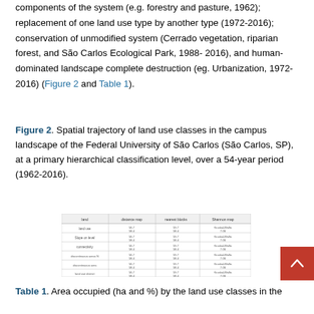components of the system (e.g. forestry and pasture, 1962); replacement of one land use type by another type (1972-2016); conservation of unmodified system (Cerrado vegetation, riparian forest, and São Carlos Ecological Park, 1988- 2016), and human-dominated landscape complete destruction (eg. Urbanization, 1972-2016) (Figure 2 and Table 1).
Figure 2. Spatial trajectory of land use classes in the campus landscape of the Federal University of São Carlos (São Carlos, SP), at a primary hierarchical classification level, over a 54-year period (1962-2016).
[Figure (table-as-image): A small thumbnail image of a table showing land use data]
Table 1. Area occupied (ha and %) by the land use classes in the landscape campus of the Federal University of São Carlos (São Carlos, SP), at a primary hierarchical classification level, over a 54-year period (1962-2016).